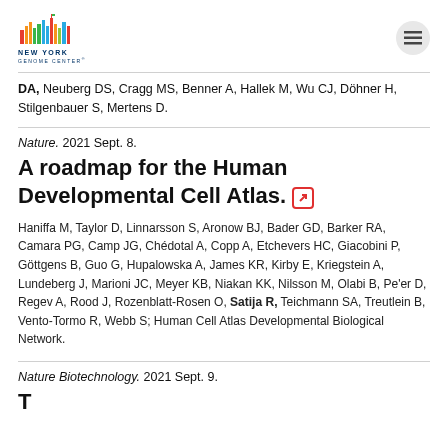New York Genome Center logo and navigation
DA, Neuberg DS, Cragg MS, Benner A, Hallek M, Wu CJ, Döhner H, Stilgenbauer S, Mertens D.
Nature. 2021 Sept. 8.
A roadmap for the Human Developmental Cell Atlas.
Haniffa M, Taylor D, Linnarsson S, Aronow BJ, Bader GD, Barker RA, Camara PG, Camp JG, Chédotal A, Copp A, Etchevers HC, Giacobini P, Göttgens B, Guo G, Hupalowska A, James KR, Kirby E, Kriegstein A, Lundeberg J, Marioni JC, Meyer KB, Niakan KK, Nilsson M, Olabi B, Pe'er D, Regev A, Rood J, Rozenblatt-Rosen O, Satija R, Teichmann SA, Treutlein B, Vento-Tormo R, Webb S; Human Cell Atlas Developmental Biological Network.
Nature Biotechnology. 2021 Sept. 9.